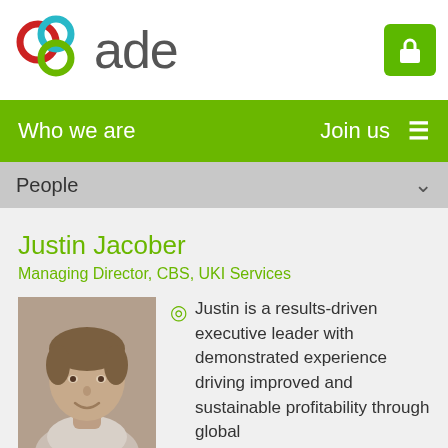[Figure (logo): ADE logo with interlinked circles in red, teal, and green, followed by the text 'ade' in grey, and a green lock button on the right]
Who we are   Join us  ≡
People
Justin Jacober
Managing Director, CBS, UKI Services
[Figure (photo): Black and white headshot photo of Justin Jacober, a middle-aged man smiling]
Justin is a results-driven executive leader with demonstrated experience driving improved and sustainable profitability through global